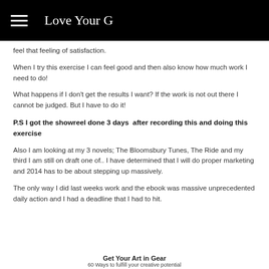Love Your G
feel that feeling of satisfaction.
When I try this exercise I can feel good and then also know how much work I need to do!
What happens if I don’t get the results I want? If the work is not out there I cannot be judged. But I have to do it!
P.S I got the showreel done 3 days  after recording this and doing this exercise
Also I am looking at my 3 novels; The Bloomsbury Tunes, The Ride and my third I am still on draft one of.. I have determined that I will do proper marketing and 2014 has to be about stepping up massively.
The only way I did last weeks work and the ebook was massive unprecedented daily action and I had a deadline that I had to hit.
Get Your Art in Gear